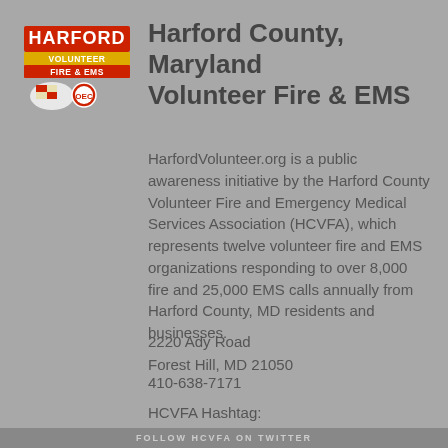[Figure (logo): Harford County Volunteer Fire & EMS logo with Maryland flag shield and red text]
Harford County, Maryland Volunteer Fire & EMS
HarfordVolunteer.org is a public awareness initiative by the Harford County Volunteer Fire and Emergency Medical Services Association (HCVFA), which represents twelve volunteer fire and EMS organizations responding to over 8,000 fire and 25,000 EMS calls annually from Harford County, MD residents and businesses.
2220 Ady Road
Forest Hill, MD 21050
410-638-7171
HCVFA Hashtag:
#harfordvolunteer
FOLLOW HCVFA ON TWITTER